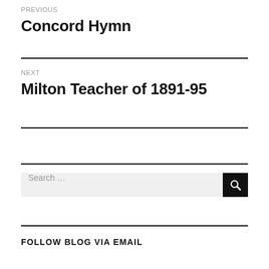PREVIOUS
Concord Hymn
NEXT
Milton Teacher of 1891-95
Search …
FOLLOW BLOG VIA EMAIL